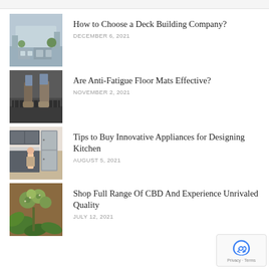[Figure (photo): Deck/patio with outdoor furniture]
How to Choose a Deck Building Company?
DECEMBER 6, 2021
[Figure (photo): Person standing on anti-fatigue floor mat]
Are Anti-Fatigue Floor Mats Effective?
NOVEMBER 2, 2021
[Figure (photo): Modern kitchen with appliances]
Tips to Buy Innovative Appliances for Designing Kitchen
AUGUST 5, 2021
[Figure (photo): CBD cannabis plant and products]
Shop Full Range Of CBD And Experience Unrivaled Quality
JULY 12, 2021